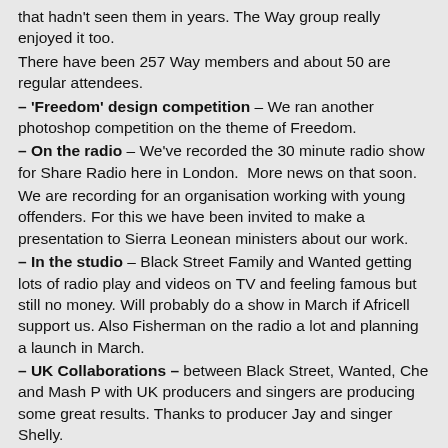that hadn't seen them in years. The Way group really enjoyed it too.
There have been 257 Way members and about 50 are regular attendees.
– 'Freedom' design competition – We ran another photoshop competition on the theme of Freedom.
– On the radio – We've recorded the 30 minute radio show for Share Radio here in London.  More news on that soon.
We are recording for an organisation working with young offenders. For this we have been invited to make a presentation to Sierra Leonean ministers about our work.
– In the studio – Black Street Family and Wanted getting lots of radio play and videos on TV and feeling famous but still no money. Will probably do a show in March if Africell support us. Also Fisherman on the radio a lot and planning a launch in March.
– UK Collaborations – between Black Street, Wanted, Che and Mash P with UK producers and singers are producing some great results. Thanks to producer Jay and singer Shelly.
– Live reggae album – It took a while, but WAYout has produced our first live reggae album, by Jahman. We hope it gets some good attention.
– Volunteers – we continue to benefit from volunteers. Hannah McInerny is currently out there teaching keyboards and music productions – but we could always benefit from